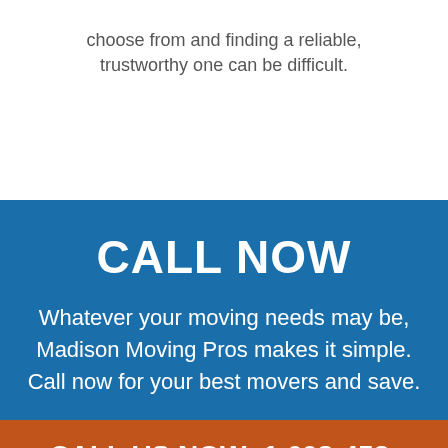choose from and finding a reliable, trustworthy one can be difficult.
CALL NOW
Whatever your moving needs may be, Madison Moving Pros makes it simple. Call now for your best movers and save.
CALL US NOW: 1 608-453-4131